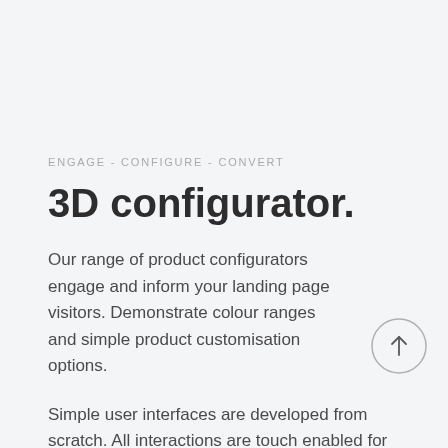ENGAGE - CONFIGURE - CONVERT
3D configurator.
Our range of product configurators engage and inform your landing page visitors. Demonstrate colour ranges and simple product customisation options.
Simple user interfaces are developed from scratch. All interactions are touch enabled for mobile.